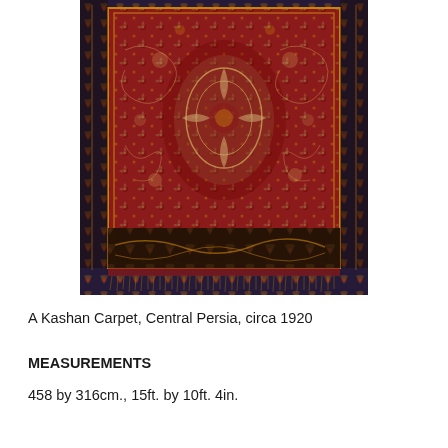[Figure (photo): A Kashan carpet from Central Persia, circa 1920. The rug features a deep red field with an intricate central medallion, scrolling floral arabesques, and a dark navy border with additional floral patterns. The carpet shows fringe at the bottom edge.]
A Kashan Carpet, Central Persia, circa 1920
MEASUREMENTS
458 by 316cm., 15ft. by 10ft. 4in.